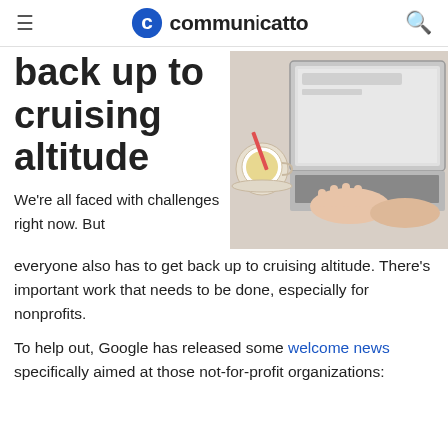communicatto
back up to cruising altitude
[Figure (photo): Overhead view of a person typing on a laptop with a cup of tea on a marble surface]
We're all faced with challenges right now. But everyone also has to get back up to cruising altitude. There's important work that needs to be done, especially for nonprofits.
To help out, Google has released some welcome news specifically aimed at those not-for-profit organizations: